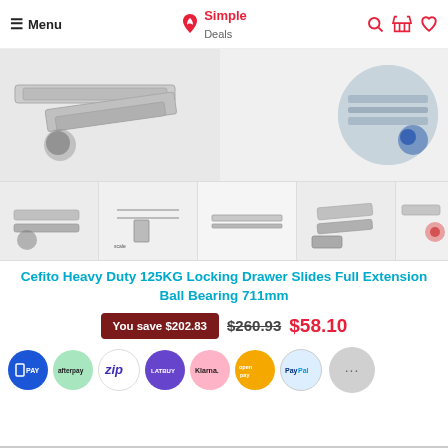Menu | Simple Deals
[Figure (photo): Product images of heavy duty drawer slides, showing the rails and a lifestyle image of the product installed in a cabinet.]
[Figure (photo): Thumbnail strip showing five product images of drawer slides from different angles and technical diagrams.]
Cefito Heavy Duty 125KG Locking Drawer Slides Full Extension Ball Bearing 711mm
You save $202.83  $260.93  $58.10
[Figure (infographic): Payment method icons: LatitudePay, Afterpay, Zip, LatitudePay, Klarna, OpenPay, PayPal]